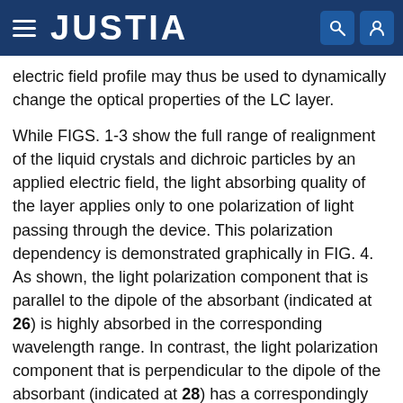JUSTIA
electric field profile may thus be used to dynamically change the optical properties of the LC layer.
While FIGS. 1-3 show the full range of realignment of the liquid crystals and dichroic particles by an applied electric field, the light absorbing quality of the layer applies only to one polarization of light passing through the device. This polarization dependency is demonstrated graphically in FIG. 4. As shown, the light polarization component that is parallel to the dipole of the absorbant (indicated at 26) is highly absorbed in the corresponding wavelength range. In contrast, the light polarization component that is perpendicular to the dipole of the absorbant (indicated at 28) has a correspondingly low degree of absorption in the corresponding wavelength range.
Because of the polarization dependence of the absorbing...